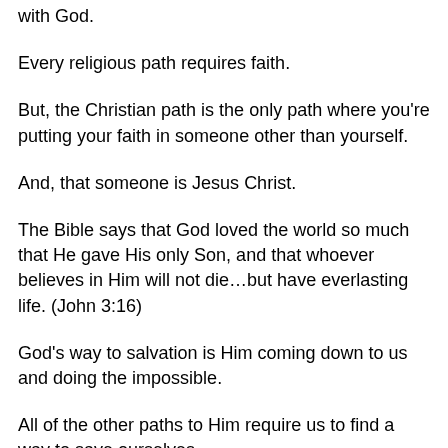with God.
Every religious path requires faith.
But, the Christian path is the only path where you're putting your faith in someone other than yourself.
And, that someone is Jesus Christ.
The Bible says that God loved the world so much that He gave His only Son, and that whoever believes in Him will not die…but have everlasting life. (John 3:16)
God's way to salvation is Him coming down to us and doing the impossible.
All of the other paths to Him require us to find a way to save ourselves…